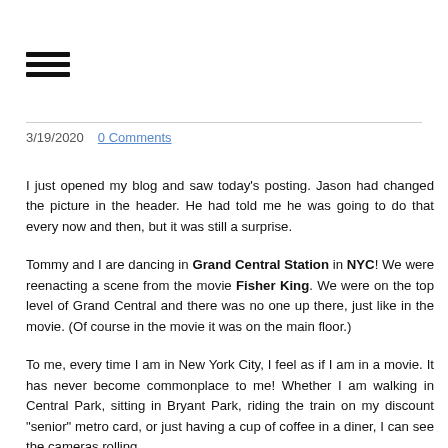☰ (hamburger menu icon)
3/19/2020   0 Comments
I just opened my blog and saw today's posting.  Jason had changed the picture in the header.  He had told me he was going to do that every now and then, but it was still a surprise.
Tommy and I are dancing in Grand Central Station in NYC!  We were reenacting a scene from the movie Fisher King.  We were on the top level of Grand Central and there was no one up there, just like in the movie. (Of course in the movie it was on the main floor.)
To me,  every time I am in New York City, I feel as if I am in a movie.  It has never become commonplace to me!  Whether I am walking in Central Park,  sitting in Bryant Park,  riding the train on my discount "senior" metro card, or just having a cup of coffee in a diner, I can see the cameras rolling.
The day that this picture was taken, we were there with our grandson